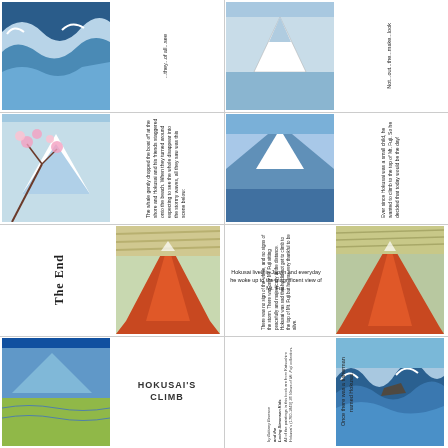[Figure (illustration): Hokusai artwork - wave/water scene (top left, rotated)]
...they...of all...see
[Figure (illustration): Hokusai artwork - mountain scene (top right, rotated)]
Not...out...the...make...look
[Figure (illustration): Hokusai artwork - cherry blossom and mountain]
The whale gently dropped the boat off at the shore and Hokusai and his friends staggered onto the beach. When they turned around expecting to see the whole disappear into the stormy waves, all they saw was this scene below:
[Figure (illustration): Hokusai artwork - Mt. Fuji blue]
Ever since Hokusai was a small child, he wanted to climb to the top of Mt. Fuji. So he decided that today would be the day!
The End
[Figure (illustration): Hokusai artwork - Red Fuji]
There was no sign of the whale, and no signs of the storm. There was only Mt. Fuji sitting peacefully and majestically in the distance. Hokusai was sad that he did not get to climb to the top of Mt. Fuji but he was very thankful to be alive.
[Figure (illustration): Hokusai artwork - Red Fuji (right)]
Hokusai lived in Japan and everyday he woke up to the magnificent view of Mt. Fuji.
[Figure (illustration): Hokusai artwork - landscape with water]
HOKUSAI'S CLIMB
by Brittany Bereson
and the
Loring Simonsen Kids
All of the paintings in this book are from Katsushiro Hokusai's (1760-1849) 36 Views of Mt. Fuji collection.
[Figure (illustration): Hokusai artwork - ocean waves with boat]
Once there was a fisherman named Hokusai.